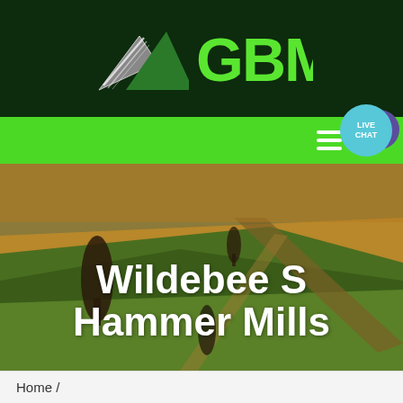[Figure (logo): GBM logo with mountain/triangle icon in dark green header bar. Logo shows stylized mountain peaks in grey and green with 'GBM' text in bright green.]
[Figure (other): Green navigation bar with hamburger menu icon (three white horizontal lines) on the right side. A teal/cyan circular 'LIVE CHAT' button overlaps the top-right corner with a purple speech bubble behind it.]
[Figure (photo): Aerial photo of rolling agricultural fields in golden and green tones, with tree silhouettes and a curved path. Overlay text reads 'Wildebee S Hammer Mills' in bold white.]
Wildebee S Hammer Mills
Home /